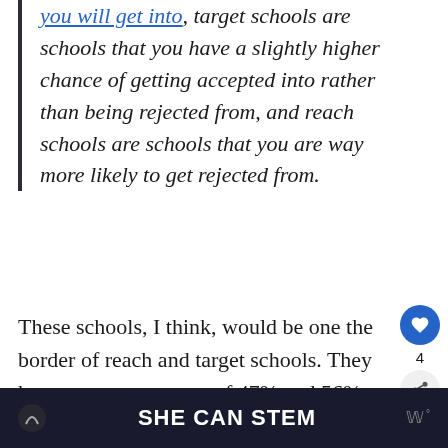you will get into, target schools are schools that you have a slightly higher chance of getting accepted into rather than being rejected from, and reach schools are schools that you are way more likely to get rejected from.
These schools, I think, would be one the border of reach and target schools. They have acceptance rates of 47% and 56%, making them harder to get into if you have a lower than average GPA.
SHE CAN STEM